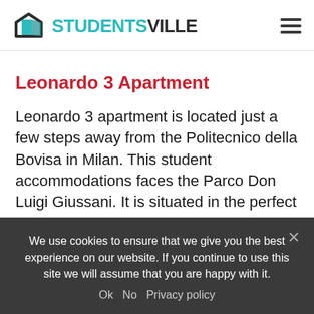STUDENTSVILLE
Leonardo 3 Apartment
Leonardo 3 apartment is located just a few steps away from the Politecnico della Bovisa in Milan. This student accommodations faces the Parco Don Luigi Giussani. It is situated in the perfect area of Milan full of services and near by the
We use cookies to ensure that we give you the best experience on our website. If you continue to use this site we will assume that you are happy with it.
Ok   No   Privacy policy